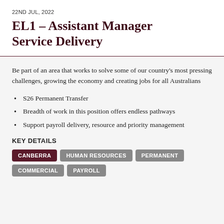22ND JUL, 2022
EL1 – Assistant Manager Service Delivery
Be part of an area that works to solve some of our country's most pressing challenges, growing the economy and creating jobs for all Australians
S26 Permanent Transfer
Breadth of work in this position offers endless pathways
Support payroll delivery, resource and priority management
KEY DETAILS
CANBERRA | HUMAN RESOURCES | PERMANENT | COMMERCIAL | PAYROLL